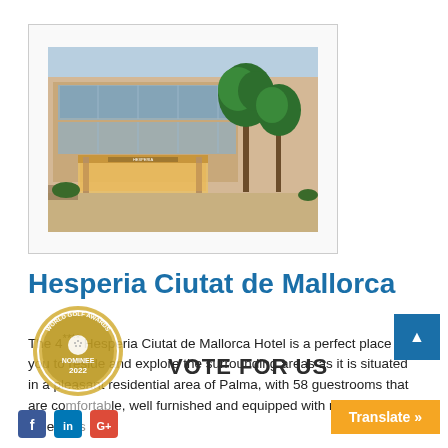[Figure (photo): Exterior photo of the Hesperia Ciutat de Mallorca hotel, showing a modern building facade with palm trees, glass entrance and warm evening lighting.]
Hesperia Ciutat de Mallorca
The 4**** Hesperia Ciutat de Mallorca Hotel is a perfect place for you to reside and explore the surrounding areas as it is situated in a pleasant residential area of Palma, with 58 guestrooms that are comfortable, well furnished and equipped with modern amenities
[Figure (logo): World Golf Awards Nominee 2022 circular badge/seal logo]
VOTE FOR US